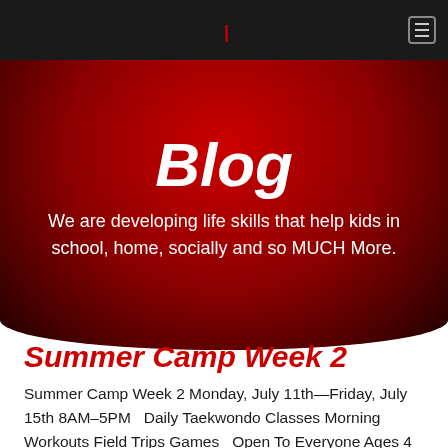Blog
Blog
We are developing life skills that help kids in school, home, socially and so MUCH More.
Summer Camp Week 2
Summer Camp Week 2 Monday, July 11th—Friday, July 15th 8AM–5PM   Daily Taekwondo Classes Morning Workouts Field Trips Games   Open To Everyone Ages 4 & Up $200.00 Per Person